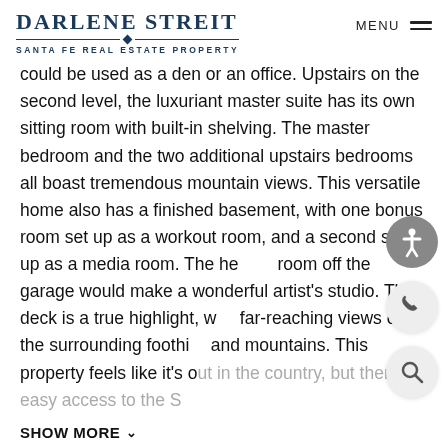DARLENE STREIT — SANTA FE REAL ESTATE PROPERTY
could be used as a den or an office. Upstairs on the second level, the luxuriant master suite has its own sitting room with built-in shelving. The master bedroom and the two additional upstairs bedrooms all boast tremendous mountain views. This versatile home also has a finished basement, with one bonus room set up as a workout room, and a second set up as a media room. The hea[ted] room off the garage would make a wonderful artist's studio. The deck is a true highlight, w[ith] far-reaching views of the surrounding foothi[lls] and mountains. This property feels like it's ou[t in] the country, but there is easy access to the S[anta Fe area].
SHOW MORE ∨